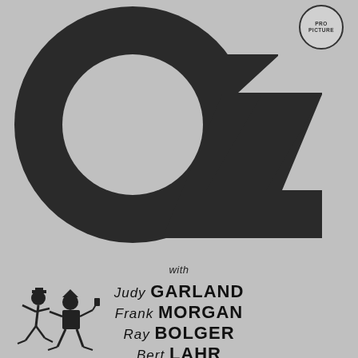[Figure (illustration): Large stylized OZ logo in bold black letters filling the upper portion of the page, with a circular badge in the top right corner reading 'PRO PICTURE']
with
Judy GARLAND
Frank MORGAN
Ray BOLGER
Bert LAHR
[Figure (illustration): Small cartoon illustration of two running fantasy characters (Scarecrow and Tin Man style figures) on the left side near the cast names]